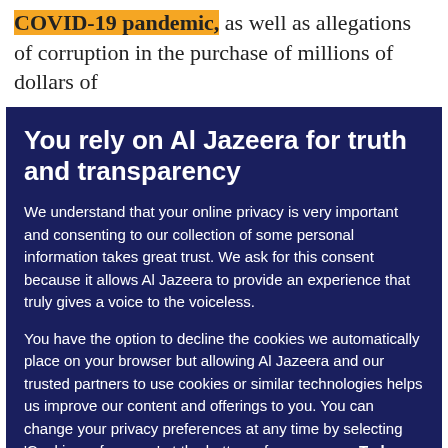COVID-19 pandemic, as well as allegations of corruption in the purchase of millions of dollars of
You rely on Al Jazeera for truth and transparency
We understand that your online privacy is very important and consenting to our collection of some personal information takes great trust. We ask for this consent because it allows Al Jazeera to provide an experience that truly gives a voice to the voiceless.
You have the option to decline the cookies we automatically place on your browser but allowing Al Jazeera and our trusted partners to use cookies or similar technologies helps us improve our content and offerings to you. You can change your privacy preferences at any time by selecting ‘Cookie preferences’ at the bottom of your screen. To learn more, please view our Cookie Policy.